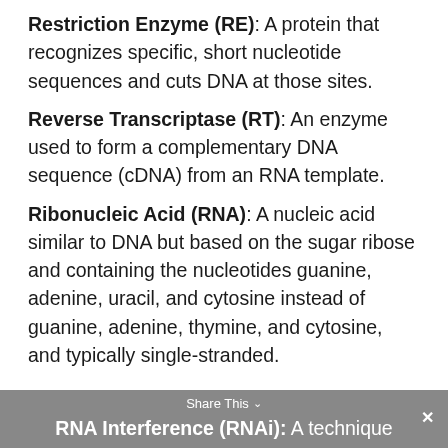Restriction Enzyme (RE): A protein that recognizes specific, short nucleotide sequences and cuts DNA at those sites.
Reverse Transcriptase (RT): An enzyme used to form a complementary DNA sequence (cDNA) from an RNA template.
Ribonucleic Acid (RNA): A nucleic acid similar to DNA but based on the sugar ribose and containing the nucleotides guanine, adenine, uracil, and cytosine instead of guanine, adenine, thymine, and cytosine, and typically single-stranded.
RNA Interference (RNAi): A technique